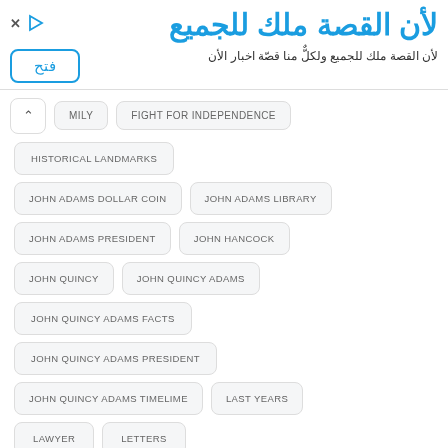[Figure (other): Icons: X and play triangle]
لأن القصة ملك للجميع
فتح
لأن القصة ملك للجميع ولكلٌّ منا قصّة اخبار الأن
MILY
FIGHT FOR INDEPENDENCE
HISTORICAL LANDMARKS
JOHN ADAMS DOLLAR COIN
JOHN ADAMS LIBRARY
JOHN ADAMS PRESIDENT
JOHN HANCOCK
JOHN QUINCY
JOHN QUINCY ADAMS
JOHN QUINCY ADAMS FACTS
JOHN QUINCY ADAMS PRESIDENT
JOHN QUINCY ADAMS TIMELIME
LAST YEARS
LAWYER
LETTERS